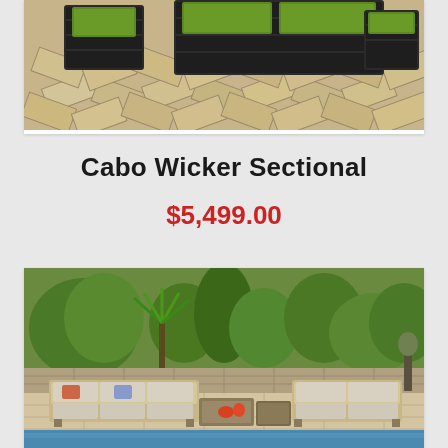[Figure (photo): Top portion of outdoor wicker sectional furniture set on a herringbone stone patio, dark wicker with green cushions]
Cabo Wicker Sectional
$5,499.00
[Figure (photo): Outdoor patio furniture set with light cushions and colorful accent pillows beside a swimming pool, lush garden background]